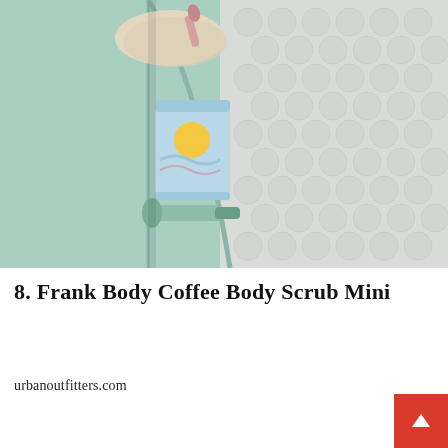[Figure (photo): Product photo showing a mint/teal tray with a Frank Body Coffee Body Scrub Mini packet (light blue packaging with sun/wave design), a jade face roller, a pink facial roller, a knit fabric swatch, and hexagonal white tile background on the right side.]
8. Frank Body Coffee Body Scrub Mini
urbanoutfitters.com